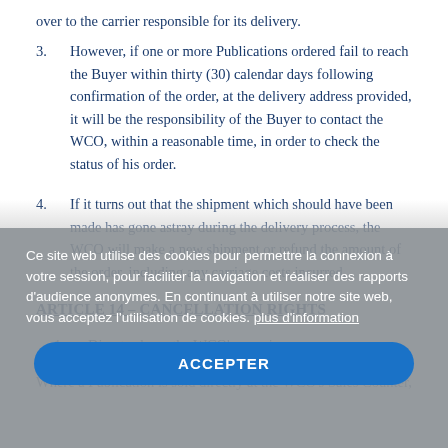over to the carrier responsible for its delivery.
3. However, if one or more Publications ordered fail to reach the Buyer within thirty (30) calendar days following confirmation of the order, at the delivery address provided, it will be the responsibility of the Buyer to contact the WCO, within a reasonable time, in order to check the status of his order.
4. If it turns out that the shipment which should have been made has gone astray during the delivery process, the WCO will make a new shipment or refund the amount of the order, including any carriage costs incurred.
ARTICLE 14 – CANCELLATION RIGHTS
1. Direct sale on the WCO's premises
Where a Publication is sold directly at the WCO's Sales Counter, the Buyer shall
Ce site web utilise des cookies pour permettre la connexion à votre session, pour faciliter la navigation et réaliser des rapports d'audience anonymes. En continuant à utiliser notre site web, vous acceptez l'utilisation de cookies. plus d'information
ACCEPTER